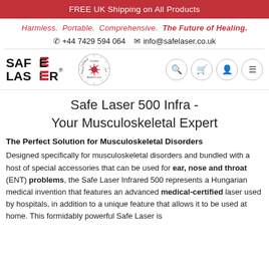FREE UK Shipping on All Products
Harmless. Portable. Comprehensive. The Future of Healing.
+44 7429 594 064   info@safelaser.co.uk
[Figure (logo): Safe Laser logo with red bar accents and 'SAFE LASER' text, plus Certified Medical Laser circular badge]
Safe Laser 500 Infra - Your Musculoskeletal Expert
The Perfect Solution for Musculoskeletal Disorders
Designed specifically for musculoskeletal disorders and bundled with a host of special accessories that can be used for ear, nose and throat (ENT) problems, the Safe Laser Infrared 500 represents a Hungarian medical invention that features an advanced medical-certified laser used by hospitals, in addition to a unique feature that allows it to be used at home. This formidably powerful Safe Laser is